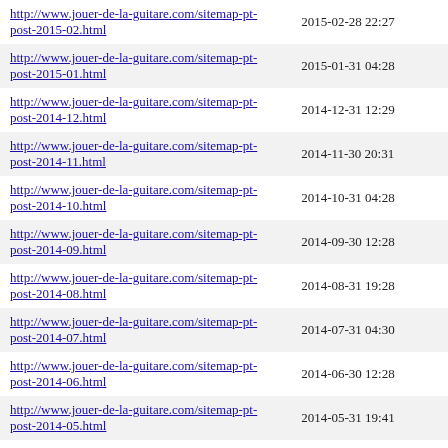| URL | Last Modified |
| --- | --- |
| http://www.jouer-de-la-guitare.com/sitemap-pt-post-2015-02.html | 2015-02-28 22:27 |
| http://www.jouer-de-la-guitare.com/sitemap-pt-post-2015-01.html | 2015-01-31 04:28 |
| http://www.jouer-de-la-guitare.com/sitemap-pt-post-2014-12.html | 2014-12-31 12:29 |
| http://www.jouer-de-la-guitare.com/sitemap-pt-post-2014-11.html | 2014-11-30 20:31 |
| http://www.jouer-de-la-guitare.com/sitemap-pt-post-2014-10.html | 2014-10-31 04:28 |
| http://www.jouer-de-la-guitare.com/sitemap-pt-post-2014-09.html | 2014-09-30 12:28 |
| http://www.jouer-de-la-guitare.com/sitemap-pt-post-2014-08.html | 2014-08-31 19:28 |
| http://www.jouer-de-la-guitare.com/sitemap-pt-post-2014-07.html | 2014-07-31 04:30 |
| http://www.jouer-de-la-guitare.com/sitemap-pt-post-2014-06.html | 2014-06-30 12:28 |
| http://www.jouer-de-la-guitare.com/sitemap-pt-post-2014-05.html | 2014-05-31 19:41 |
| http://www.jouer-de-la-guitare.com/sitemap-pt-post-2014-04.html | 2014-04-30 04:39 |
| http://www.jouer-de-la-guitare.com/sitemap-pt-post-2014-03.html | 2014-03-31 11:34 |
| http://www.jouer-de-la-guitare.com/sitemap-pt-post-2014-02.html | 2014-02-28 19:34 |